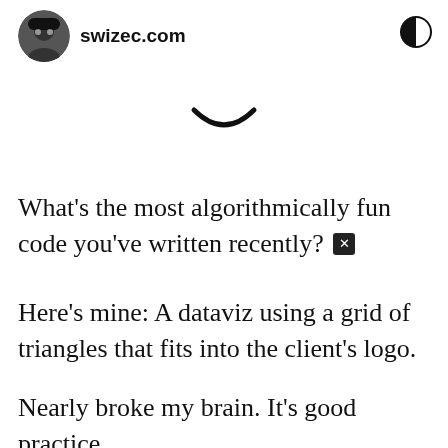swizec.com
[Figure (illustration): Partial envelope/email icon visible at top center]
What's the most algorithmically fun code you've written recently? 🔵
Here's mine: A dataviz using a grid of triangles that fits into the client's logo.
Nearly broke my brain. It's good practice.